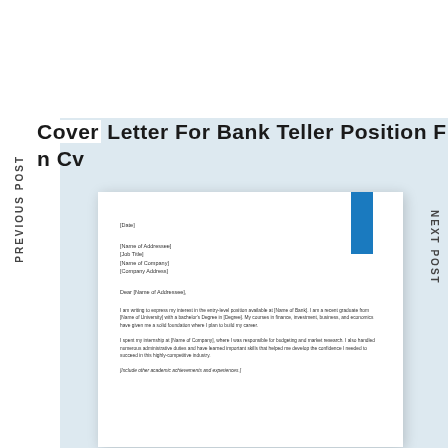Cover Letter For Bank Teller Position Free Resume Templates n Cv
PREVIOUS POST
NEXT POST
[Figure (other): A cover letter document preview showing a formal bank teller cover letter template with placeholder text fields for Date, Name of Addressee, Job Title, Name of Company, Company Address, salutation Dear [Name of Addressee], and body paragraphs about interest in entry-level position at [Name of Bank], internship experience, and academic achievements.]